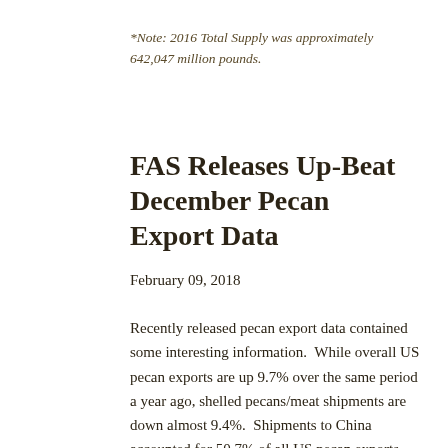*Note: 2016 Total Supply was approximately 642,047 million pounds.
FAS Releases Up-Beat December Pecan Export Data
February 09, 2018
Recently released pecan export data contained some interesting information.  While overall US pecan exports are up 9.7% over the same period a year ago, shelled pecans/meat shipments are down almost 9.4%.  Shipments to China accounted for 50.7% of all US pecan exports compared to 43.7% last year.  This is a bit of a surprise when one considers that this was